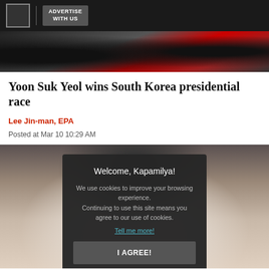ADVERTISE WITH US
[Figure (photo): Top banner photo showing crowd of people, some wearing red clothing]
Yoon Suk Yeol wins South Korea presidential race
Lee Jin-man, EPA
Posted at Mar 10 10:29 AM
[Figure (photo): Photo of a person in white shirt, partially obscured by cookie consent modal overlay. Modal reads: Welcome, Kapamilya! We use cookies to improve your browsing experience. Continuing to use this site means you agree to our use of cookies. Tell me more! I AGREE!]